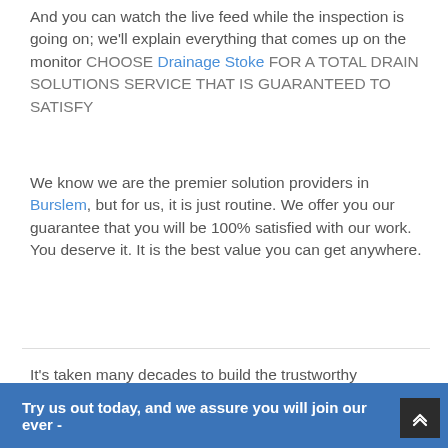And you can watch the live feed while the inspection is going on; we'll explain everything that comes up on the monitor CHOOSE Drainage Stoke FOR A TOTAL DRAIN SOLUTIONS SERVICE THAT IS GUARANTEED TO SATISFY
We know we are the premier solution providers in Burslem, but for us, it is just routine. We offer you our guarantee that you will be 100% satisfied with our work. You deserve it. It is the best value you can get anywhere.
It's taken many decades to build the trustworthy reputation that we have earned and it shows in every aspect of Drainage Stoke. But we don't expect you to just believe that We let our records do the talking.
Try us out today, and we assure you will join our ever -